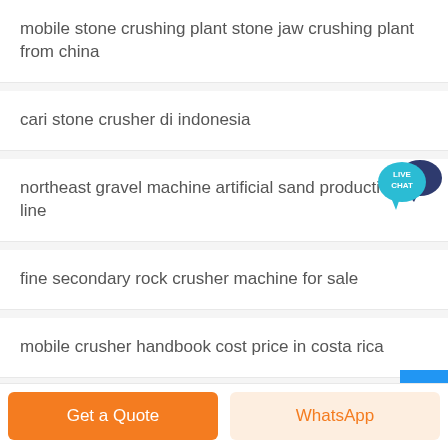mobile stone crushing plant stone jaw crushing plant from china
cari stone crusher di indonesia
northeast gravel machine artificial sand production line
fine secondary rock crusher machine for sale
mobile crusher handbook cost price in costa rica
Get a Quote
WhatsApp